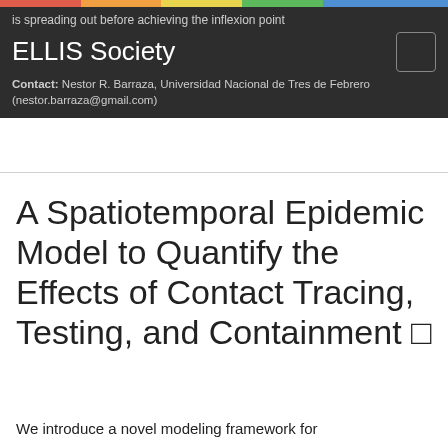is spreading out before achieving the inflexion point
ELLIS Society
Contact: Nestor R. Barraza, Universidad Nacional de Tres de Febrero (nestor.barraza@gmail.com)
A Spatiotemporal Epidemic Model to Quantify the Effects of Contact Tracing, Testing, and Containment ☆
We introduce a novel modeling framework for